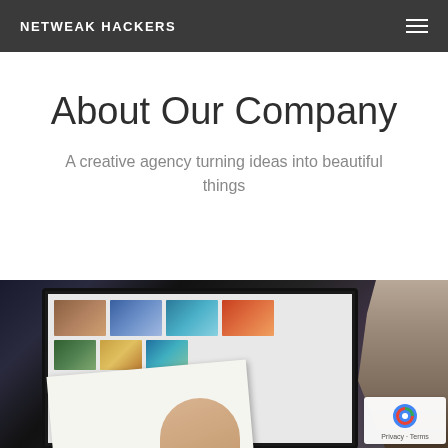NETWEAK HACKERS
About Our Company
A creative agency turning ideas into beautiful things
[Figure (photo): A person looking at a computer monitor displaying image thumbnails, with a brochure or printed material in the foreground]